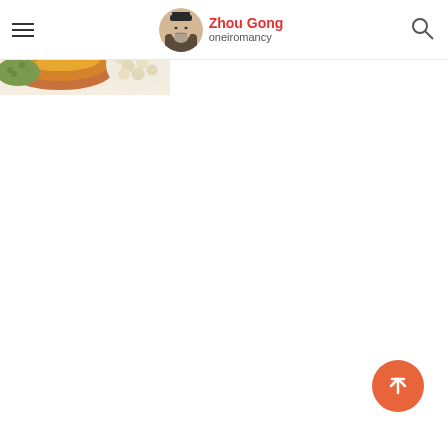Zhou Gong oneiromancy - navigation header with hamburger menu, logo, and search icon
[Figure (photo): Photo of assorted grains and legumes in bowls — lentils, soybeans, mung beans — on a light background, partially cropped in the top-left corner of the page]
[Figure (illustration): Scroll-to-top floating action button: orange circle with upward arrow icon, positioned bottom-right]